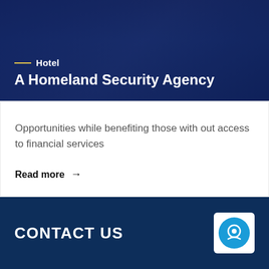[Figure (photo): Hero image with blurred people in what appears to be an airport or public space, overlaid with dark navy blue tint]
Hotel
A Homeland Security Agency
Opportunities while benefiting those with out access to financial services
Read more →
CONTACT US